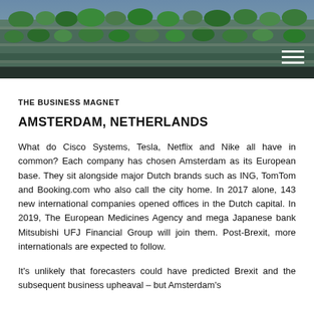[Figure (photo): Aerial or close-up view of a modern building with lush green terraced gardens and vegetation on multiple levels, taken from below or at an angle.]
THE BUSINESS MAGNET
AMSTERDAM, NETHERLANDS
What do Cisco Systems, Tesla, Netflix and Nike all have in common? Each company has chosen Amsterdam as its European base. They sit alongside major Dutch brands such as ING, TomTom and Booking.com who also call the city home. In 2017 alone, 143 new international companies opened offices in the Dutch capital. In 2019, The European Medicines Agency and mega Japanese bank Mitsubishi UFJ Financial Group will join them. Post-Brexit, more internationals are expected to follow.
It's unlikely that forecasters could have predicted Brexit and the subsequent business upheaval – but Amsterdam's